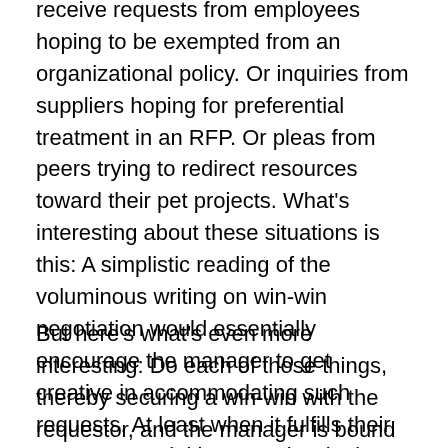receive requests from employees hoping to be exempted from an organizational policy. Or inquiries from suppliers hoping for preferential treatment in an RFP. Or pleas from peers trying to redirect resources toward their pet projects. What's interesting about these situations is this: A simplistic reading of the voluminous writing on win-win negotiation would essentially encourage the manager to get creative in accommodating such requests. At least when it fulfills their own managerial interests in winning friends and allies, go ahead and waive the policy, wink at the preferred supplier, speak out in favor of the pet project.
But here's what's even more interesting: Do each of those things, thereby securing a win-win with the requestor, and the manager is bound to create a win-lose for someone else. What about the other employees who still have to follow the policy (and thus face greater constraints)? Or